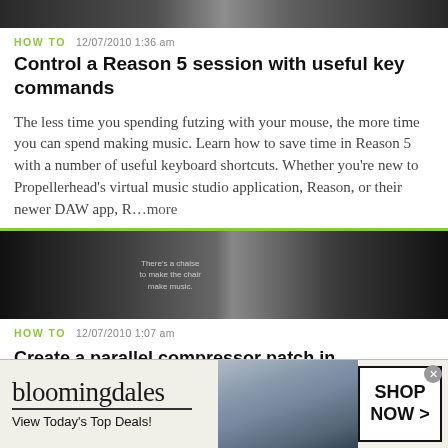[Figure (photo): Dark banner image strip at top of page, blurred/dark background]
HOW TO   12/07/2010 1:36 am
Control a Reason 5 session with useful key commands
The less time you spending futzing with your mouse, the more time you can spend making music. Learn how to save time in Reason 5 with a number of useful keyboard shortcuts. Whether you're new to Propellerhead's virtual music studio application, Reason, or their newer DAW app, R...more
[Figure (photo): Dark article thumbnail image with blurred text overlay]
HOW TO   12/07/2010 1:07 am
Create a parallel compressor patch in Propellerhead R
[Figure (photo): Bloomingdales advertisement banner: logo, View Today's Top Deals!, woman in hat, SHOP NOW >]